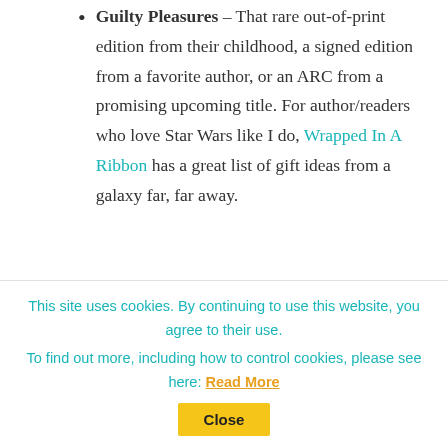Guilty Pleasures – That rare out-of-print edition from their childhood, a signed edition from a favorite author, or an ARC from a promising upcoming title. For author/readers who love Star Wars like I do, Wrapped In A Ribbon has a great list of gift ideas from a galaxy far, far away.
Book Accessories
Bookends – Just the thing to keep reference materials at your author's
This site uses cookies. By continuing to use this website, you agree to their use. To find out more, including how to control cookies, please see here: Read More